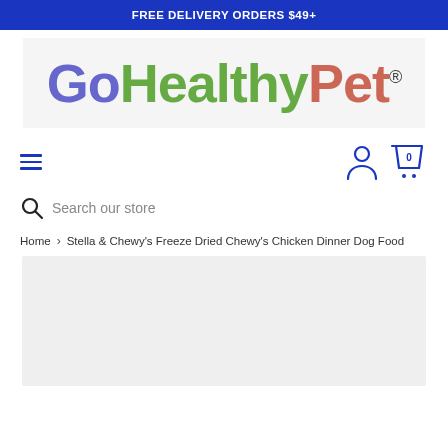FREE DELIVERY ORDERS $49+
[Figure (logo): GoHealthyPet logo with 'Go' in purple, 'Healthy' in green, 'Pet' in red/salmon, with registered trademark symbol]
≡  (hamburger menu icon) and user/cart icons
Search our store
Home > Stella & Chewy's Freeze Dried Chewy's Chicken Dinner Dog Food
[Figure (photo): Product image area (light gray placeholder)]